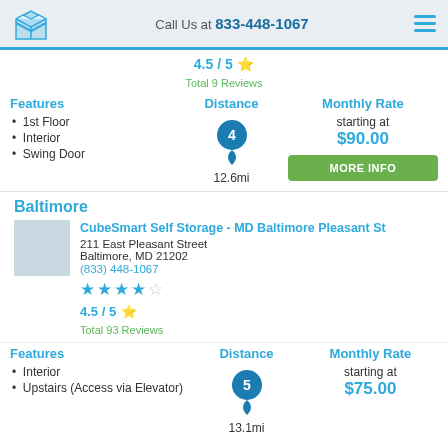Call Us at 833-448-1067
4.5 / 5 ★ Total 9 Reviews
Features
1st Floor
Interior
Swing Door
Distance
[Figure (infographic): Map pin marker with number 4 inside, showing 12.6mi distance]
Monthly Rate
starting at $90.00
MORE INFO
Baltimore
CubeSmart Self Storage - MD Baltimore Pleasant St
211 East Pleasant Street
Baltimore, MD 21202
(833) 448-1067
4.5 / 5 ★ Total 93 Reviews
Features
Interior
Upstairs (Access via Elevator)
Distance
[Figure (infographic): Map pin marker with number 5 inside, showing 13.1mi distance]
Monthly Rate
starting at $75.00